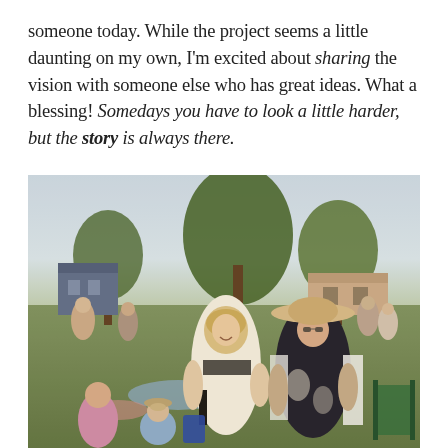someone today. While the project seems a little daunting on my own, I'm excited about sharing the vision with someone else who has great ideas. What a blessing! Somedays you have to look a little harder, but the story is always there.
[Figure (photo): Outdoor gathering/party scene with two women standing and smiling in the foreground — one in a white floral dress, one in a black floral dress with a wide-brimmed hat — surrounded by other guests, children, trees, and lawn chairs in a residential backyard setting.]